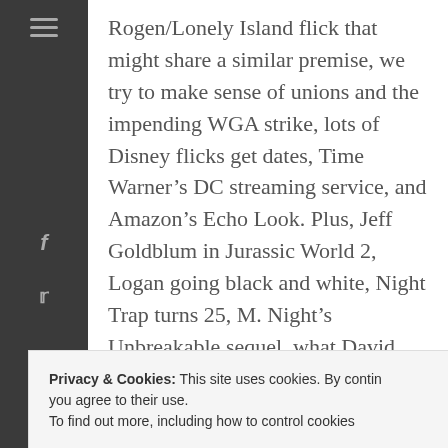Rogen/Lonely Island flick that might share a similar premise, we try to make sense of unions and the impending WGA strike, lots of Disney flicks get dates, Time Warner's DC streaming service, and Amazon's Echo Look. Plus, Jeff Goldblum in Jurassic World 2, Logan going black and white, Night Trap turns 25, M. Night's Unbreakable sequel, what David Fincher, Damien Chazelle, Ang Lee, and Paul Verhoeven are working on next, Innaritu on VR, Abu Dhabi's Warner Bros World, social network holidays, and deets on Netflix's next Adam Sandler flick.
Privacy & Cookies: This site uses cookies. By continuing to use this website, you agree to their use. To find out more, including how to control cookies, see here: